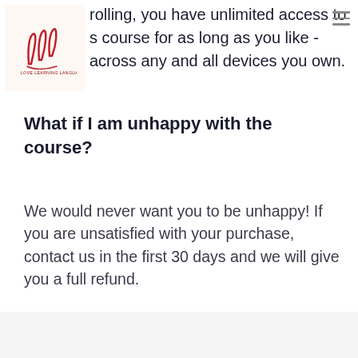rolling, you have unlimited access to s course for as long as you like - across any and all devices you own.
What if I am unhappy with the course?
We would never want you to be unhappy! If you are unsatisfied with your purchase, contact us in the first 30 days and we will give you a full refund.